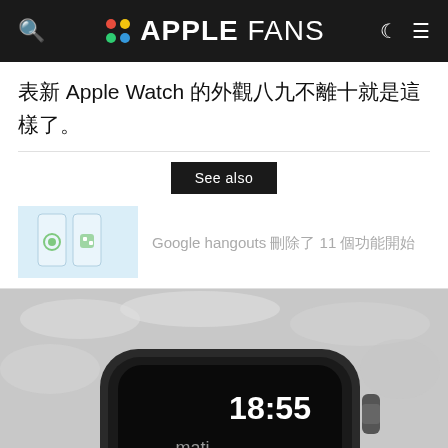APPLE FANS
表新 Apple Watch 的外觀八九不離十就是這樣了。
See also
[Figure (screenshot): Related article thumbnail showing Google Hangouts app icons on phone screens with blurred title text]
[Figure (photo): Close-up photo of an Apple Watch showing time 18:55 and notification text 'mati...' on a dark watch face, placed on a light furry surface]
[Figure (infographic): Social sharing bar with Twitter, Facebook, Messenger, and LINE buttons]